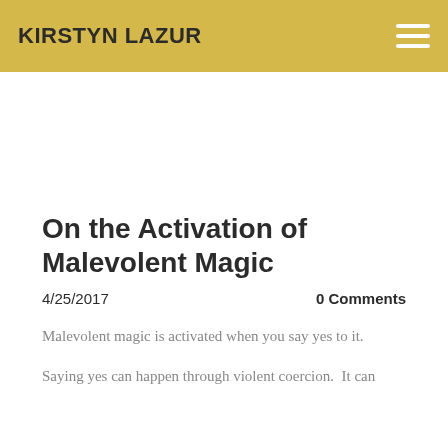KIRSTYN LAZUR
[Figure (photo): Decorative image strip below the header navigation bar]
On the Activation of Malevolent Magic
4/25/2017    0 Comments
Malevolent magic is activated when you say yes to it.
Saying yes can happen through violent coercion.  It can